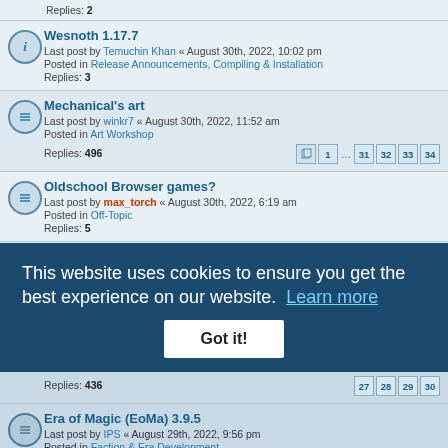Replies: 2
Wesnoth 1.17.7 — Last post by Temuchin Khan « August 30th, 2022, 10:02 pm — Posted in Release Announcements, Compiling & Installation — Replies: 3
Mechanical's art — Last post by winkr7 « August 30th, 2022, 11:52 am — Posted in Art Workshop — Replies: 496 — Pages: 1 ... 31 32 33 34
Oldschool Browser games? — Last post by max_torch « August 30th, 2022, 6:19 am — Posted in Off-Topic — Replies: 5
A Hidden War - SP - TDM Project — Last post by hermestrismi « August 30th, 2022, 3:26 am — Posted in Scenario & Campaign Development — Replies: 15 — Pages: 1 2
The Reign of the Lords — Last post by Verbatim « August 29th, 2022, 11:29 pm — Posted in Faction & Era Development — Replies: 436 — Pages: 27 28 29 30
Era of Magic (EoMa) 3.9.5 — Last post by IPS « August 29th, 2022, 9:56 pm — Posted in Faction & Era Development — Replies: 1867 — Pages: 1 ... 122 123 124 125
War and Home - Campaign for 1.16 — Last post by ...
This website uses cookies to ensure you get the best experience on our website. Learn more — Got it!